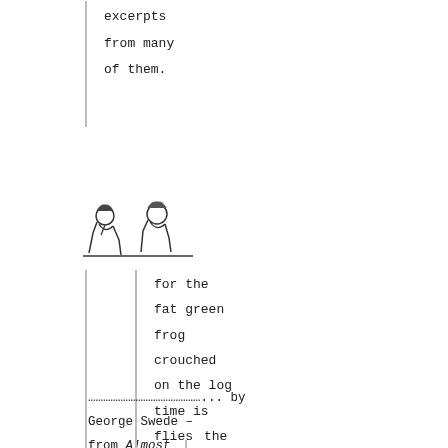excerpts
from many
of them.
[Figure (illustration): Black and white illustration of two children crouching down, possibly examining something on the ground.]
for the
fat green
frog
crouched
on the log
time is
flies
…………………………………... by George Swede – from Almost Unseen
the
bill
collector